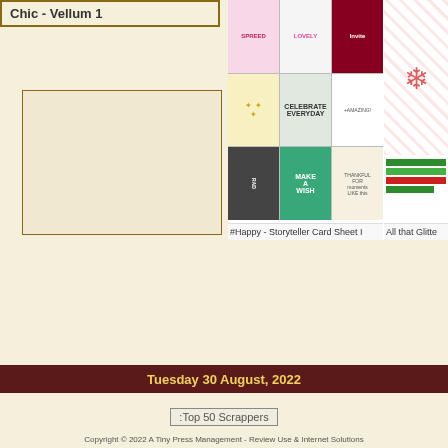Chic - Vellum 1
[Figure (photo): Vellum color swatch - pale cream/beige rectangular swatch]
[Figure (photo): #Happy - Storyteller Card Sheet product image showing a grid of scrapbooking cards with colorful designs including 'Celebrate Everyday', 'Make a Wish', and other text cards]
#Happy - Storyteller Card Sheet I
[Figure (photo): All that Glitter - partial product image showing Christmas/holiday themed paper with red snowflakes pattern and green/red stripes]
All that Glitte
Tuesday 30 August, 2022
[Figure (other): Top 50 Scrappers badge/image placeholder]
Copyright © 2022 A Tiny Press Management - Review Use & Internet Solutions